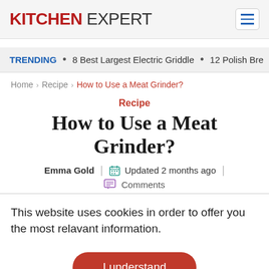KITCHEN EXPERT
TRENDING • 8 Best Largest Electric Griddle • 12 Polish Bre
Home > Recipe > How to Use a Meat Grinder?
Recipe
How to Use a Meat Grinder?
Emma Gold | Updated 2 months ago | Comments
This website uses cookies in order to offer you the most relavant information.
I understand